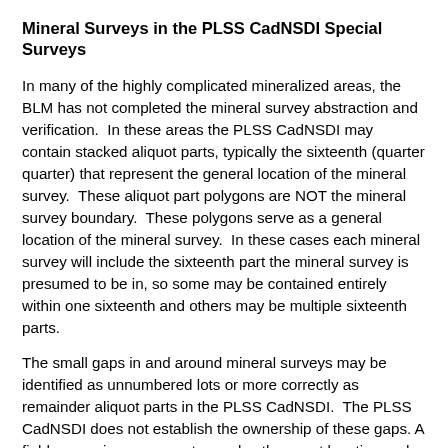Mineral Surveys in the PLSS CadNSDI Special Surveys
In many of the highly complicated mineralized areas, the BLM has not completed the mineral survey abstraction and verification.  In these areas the PLSS CadNSDI may contain stacked aliquot parts, typically the sixteenth (quarter quarter) that represent the general location of the mineral survey.  These aliquot part polygons are NOT the mineral survey boundary.  These polygons serve as a general location of the mineral survey.  In these cases each mineral survey will include the sixteenth part the mineral survey is presumed to be in, so some may be contained entirely within one sixteenth and others may be multiple sixteenth parts.
The small gaps in and around mineral surveys may be identified as unnumbered lots or more correctly as remainder aliquot parts in the PLSS CadNSDI.  The PLSS CadNSDI does not establish the ownership of these gaps. A field survey is necessary to resolve the exact location and size of these gaps and a records search (records verification) is necessary to establish the ownership.  The PLSS CadNSDI shows the mapping differences based on record abstracts.